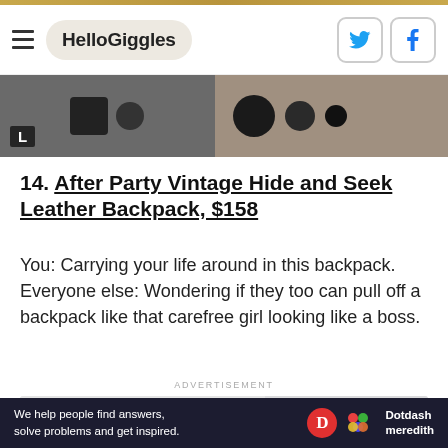HelloGiggles
[Figure (photo): Product photo strip showing camera lenses or bag accessories in black on a light background, split into two panels with an 'L' label on the left panel.]
14. After Party Vintage Hide and Seek Leather Backpack, $158
You: Carrying your life around in this backpack. Everyone else: Wondering if they too can pull off a backpack like that carefree girl looking like a boss.
ADVERTISEMENT
[Figure (photo): Partial photo of a black leather backpack with handle visible against a light gray background with dot pattern.]
We help people find answers, solve problems and get inspired. Dotdash meredith